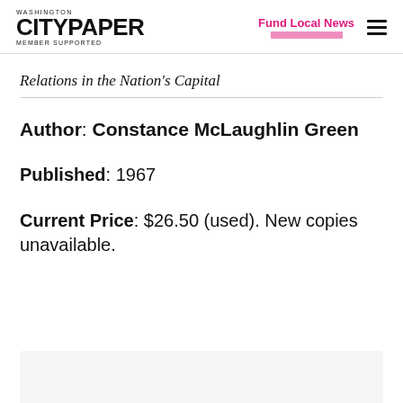Washington City Paper — Member Supported | Fund Local News
Relations in the Nation's Capital
Author: Constance McLaughlin Green
Published: 1967
Current Price: $26.50 (used). New copies unavailable.